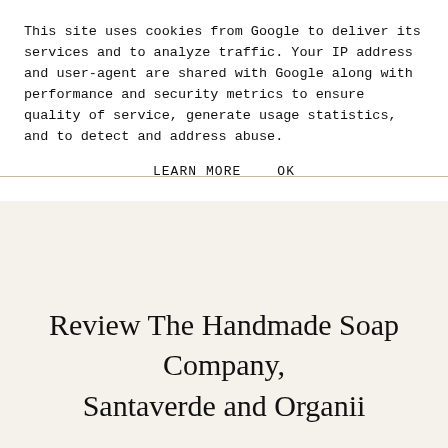This site uses cookies from Google to deliver its services and to analyze traffic. Your IP address and user-agent are shared with Google along with performance and security metrics to ensure quality of service, generate usage statistics, and to detect and address abuse.
LEARN MORE   OK
Review The Handmade Soap Company, Santaverde and Organii